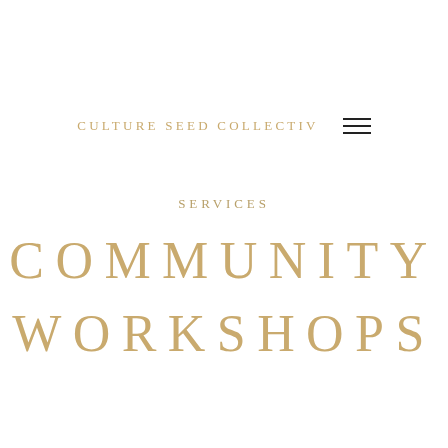CULTURE SEED COLLECTIV
SERVICES
COMMUNITY WORKSHOPS